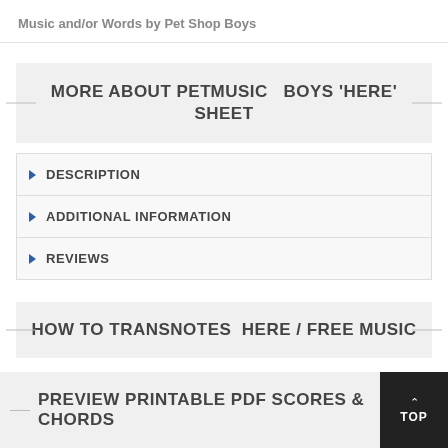Music and/or Words by Pet Shop Boys
MORE ABOUT PET MUSIC BOYS 'HERE' SHEET
DESCRIPTION
ADDITIONAL INFORMATION
REVIEWS
HOW TO TRANSNOTES HERE / FREE MUSIC
PREVIEW PRINTABLE PDF SCORES & CHORDS